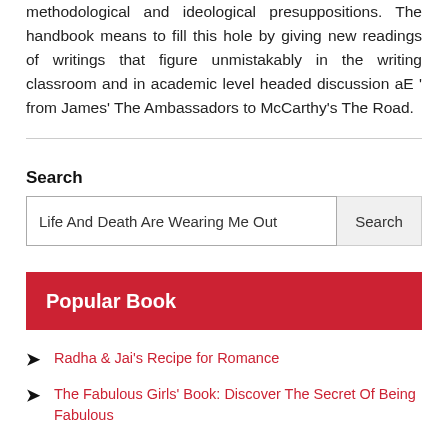methodological and ideological presuppositions. The handbook means to fill this hole by giving new readings of writings that figure unmistakably in the writing classroom and in academic level headed discussion aE ' from James' The Ambassadors to McCarthy's The Road.
Search
Life And Death Are Wearing Me Out
Popular Book
Radha & Jai's Recipe for Romance
The Fabulous Girls' Book: Discover The Secret Of Being Fabulous